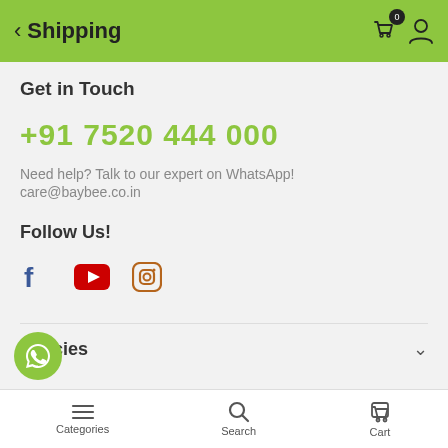Shipping
Get in Touch
+91 7520 444 000
Need help? Talk to our expert on WhatsApp!
care@baybee.co.in
Follow Us!
[Figure (illustration): Social media icons: Facebook (blue f), YouTube (red play button), Instagram (brown camera)]
Policies
Categories  Search  Cart